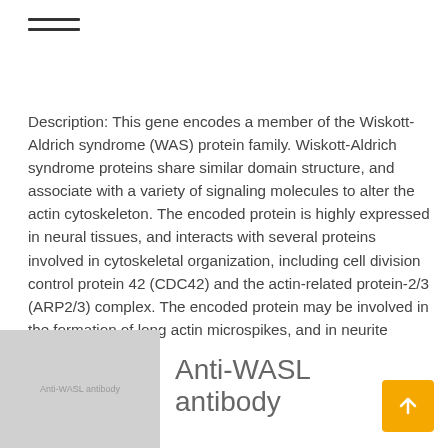[Figure (other): Hamburger menu icon with two horizontal lines]
Description: This gene encodes a member of the Wiskott-Aldrich syndrome (WAS) protein family. Wiskott-Aldrich syndrome proteins share similar domain structure, and associate with a variety of signaling molecules to alter the actin cytoskeleton. The encoded protein is highly expressed in neural tissues, and interacts with several proteins involved in cytoskeletal organization, including cell division control protein 42 (CDC42) and the actin-related protein-2/3 (ARP2/3) complex. The encoded protein may be involved in the formation of long actin microspikes, and in neurite extension.
[Figure (photo): Thumbnail product image labeled Anti-WASL antibody]
Anti-WASL antibody